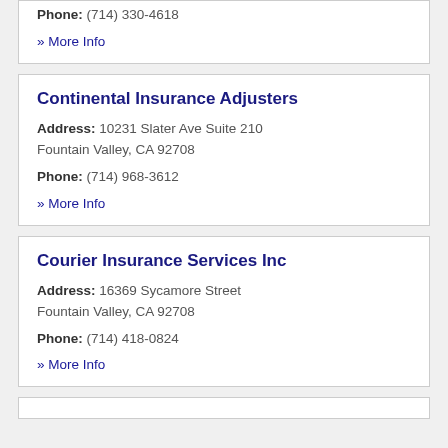Phone: (714) 330-4618
» More Info
Continental Insurance Adjusters
Address: 10231 Slater Ave Suite 210 Fountain Valley, CA 92708
Phone: (714) 968-3612
» More Info
Courier Insurance Services Inc
Address: 16369 Sycamore Street Fountain Valley, CA 92708
Phone: (714) 418-0824
» More Info